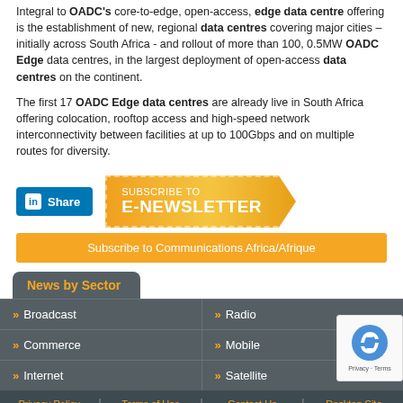Integral to OADC's core-to-edge, open-access, edge data centre offering is the establishment of new, regional data centres covering major cities – initially across South Africa - and rollout of more than 100, 0.5MW OADC Edge data centres, in the largest deployment of open-access data centres on the continent.
The first 17 OADC Edge data centres are already live in South Africa offering colocation, rooftop access and high-speed network interconnectivity between facilities at up to 100Gbps and on multiple routes for diversity.
[Figure (other): LinkedIn Share button and Subscribe to E-Newsletter arrow banner with 'Subscribe to Communications Africa/Afrique' yellow button below]
>> Broadcast
>> Radio
>> Commerce
>> Mobile
>> Internet
>> Satellite
Privacy Policy | Terms of Use | Contact Us | Desktop Site